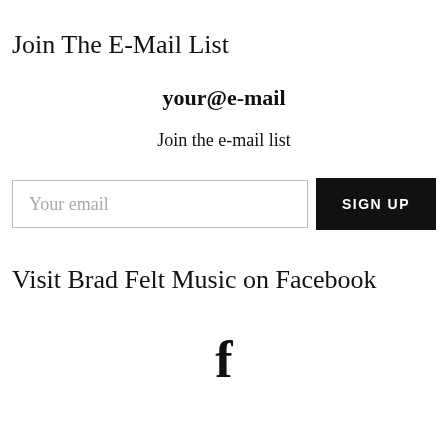Join The E-Mail List
your@e-mail
Join the e-mail list
[Figure (other): Email signup form with a text input placeholder 'Your email' and a black 'SIGN UP' button]
Visit Brad Felt Music on Facebook
[Figure (other): Facebook logo icon (stylized lowercase f)]